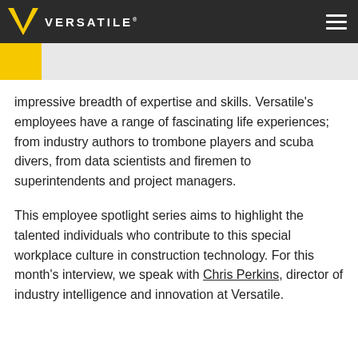VERSATILE
impressive breadth of expertise and skills. Versatile’s employees have a range of fascinating life experiences; from industry authors to trombone players and scuba divers, from data scientists and firemen to superintendents and project managers.
This employee spotlight series aims to highlight the talented individuals who contribute to this special workplace culture in construction technology. For this month’s interview, we speak with Chris Perkins, director of industry intelligence and innovation at Versatile.